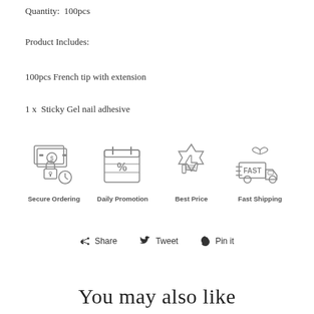Quantity:  100pcs
Product Includes:
100pcs French tip with extension
1 x  Sticky Gel nail adhesive
[Figure (infographic): Four icons in a row: Secure Ordering (money/lock icon), Daily Promotion (calendar/percent icon), Best Price (thumbs up badge icon), Fast Shipping (gift/truck icon)]
Share  Tweet  Pin it
You may also like